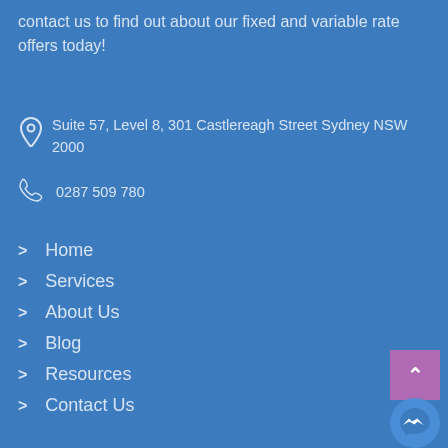contact us to find out about our fixed and variable rate offers today!
Suite 57, Level 8, 301 Castlereagh Street Sydney NSW 2000
0287 509 780
Home
Services
About Us
Blog
Resources
Contact Us